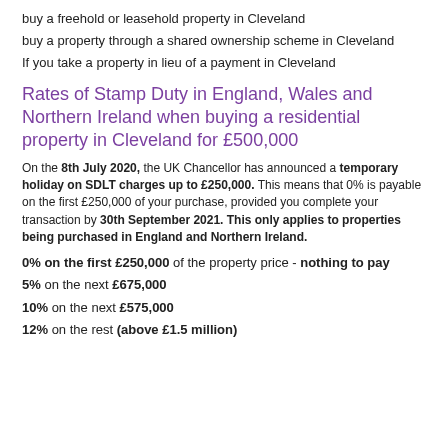buy a freehold or leasehold property in Cleveland
buy a property through a shared ownership scheme in Cleveland
If you take a property in lieu of a payment in Cleveland
Rates of Stamp Duty in England, Wales and Northern Ireland when buying a residential property in Cleveland for £500,000
On the 8th July 2020, the UK Chancellor has announced a temporary holiday on SDLT charges up to £250,000. This means that 0% is payable on the first £250,000 of your purchase, provided you complete your transaction by 30th September 2021. This only applies to properties being purchased in England and Northern Ireland.
0% on the first £250,000 of the property price - nothing to pay
5% on the next £675,000
10% on the next £575,000
12% on the rest (above £1.5 million)